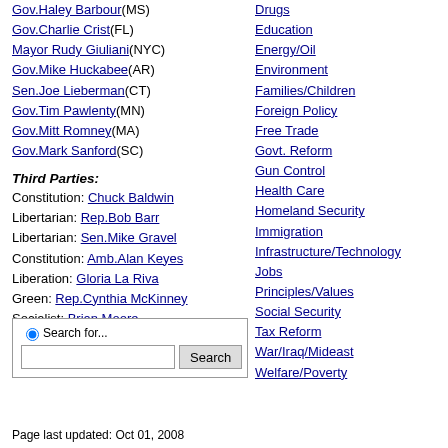Gov.Haley Barbour(MS)
Gov.Charlie Crist(FL)
Mayor Rudy Giuliani(NYC)
Gov.Mike Huckabee(AR)
Sen.Joe Lieberman(CT)
Gov.Tim Pawlenty(MN)
Gov.Mitt Romney(MA)
Gov.Mark Sanford(SC)
Third Parties:
Constitution: Chuck Baldwin
Libertarian: Rep.Bob Barr
Libertarian: Sen.Mike Gravel
Constitution: Amb.Alan Keyes
Liberation: Gloria La Riva
Green: Rep.Cynthia McKinney
Socialist: Brian Moore
Independent: Ralph Nader
Libertarian: Rep.Ron Paul
Drugs
Education
Energy/Oil
Environment
Families/Children
Foreign Policy
Free Trade
Govt. Reform
Gun Control
Health Care
Homeland Security
Immigration
Infrastructure/Technology
Jobs
Principles/Values
Social Security
Tax Reform
War/Iraq/Mideast
Welfare/Poverty
Page last updated: Oct 01, 2008